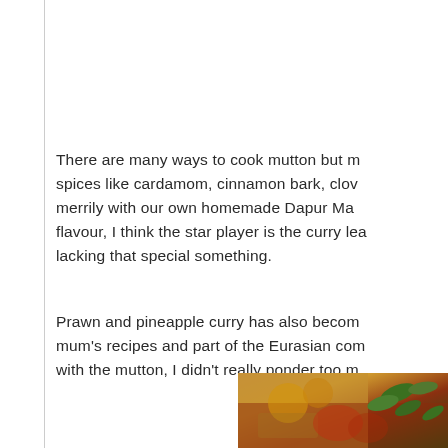There are many ways to cook mutton but my spices like cardamom, cinnamon bark, clov merrily with our own homemade Dapur Ma flavour, I think the star player is the curry lea lacking that special something.
Prawn and pineapple curry has also becom mum's recipes and part of the Eurasian com with the mutton, I didn't really ponder too m
[Figure (photo): Partial photo in bottom-right corner showing colorful food items including what appears to be spices or curry ingredients with green leaves visible]